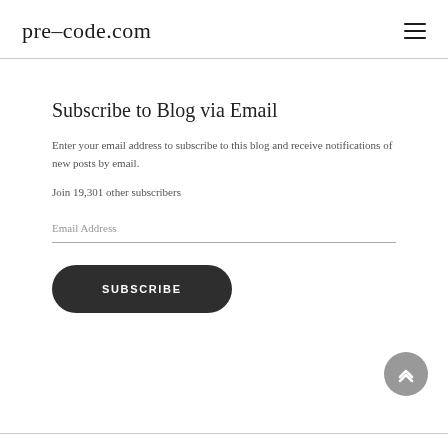pre-code.com
Subscribe to Blog via Email
Enter your email address to subscribe to this blog and receive notifications of new posts by email.
Join 19,301 other subscribers
Email Address
SUBSCRIBE